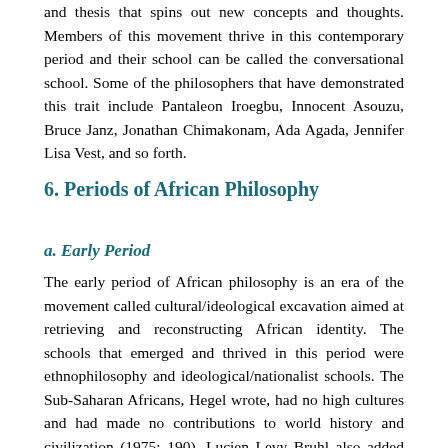and thesis that spins out new concepts and thoughts. Members of this movement thrive in this contemporary period and their school can be called the conversational school. Some of the philosophers that have demonstrated this trait include Pantaleon Iroegbu, Innocent Asouzu, Bruce Janz, Jonathan Chimakonam, Ada Agada, Jennifer Lisa Vest, and so forth.
6. Periods of African Philosophy
a. Early Period
The early period of African philosophy is an era of the movement called cultural/ideological excavation aimed at retrieving and reconstructing African identity. The schools that emerged and thrived in this period were ethnophilosophy and ideological/nationalist schools. The Sub-Saharan Africans, Hegel wrote, had no high cultures and had made no contributions to world history and civilization (1975: 190). Lucien Levy Bruhl also added that they are pre-logical and